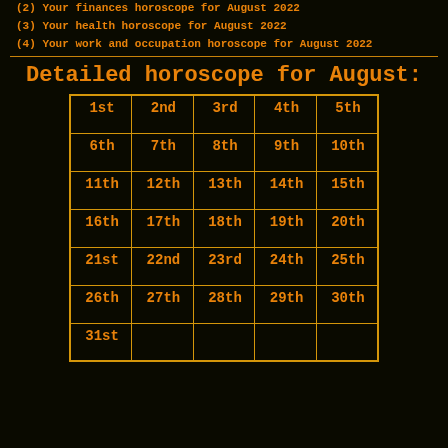(2) Your finances horoscope for August 2022
(3) Your health horoscope for August 2022
(4) Your work and occupation horoscope for August 2022
Detailed horoscope for August:
| 1st | 2nd | 3rd | 4th | 5th |
| --- | --- | --- | --- | --- |
| 6th | 7th | 8th | 9th | 10th |
| 11th | 12th | 13th | 14th | 15th |
| 16th | 17th | 18th | 19th | 20th |
| 21st | 22nd | 23rd | 24th | 25th |
| 26th | 27th | 28th | 29th | 30th |
| 31st |  |  |  |  |